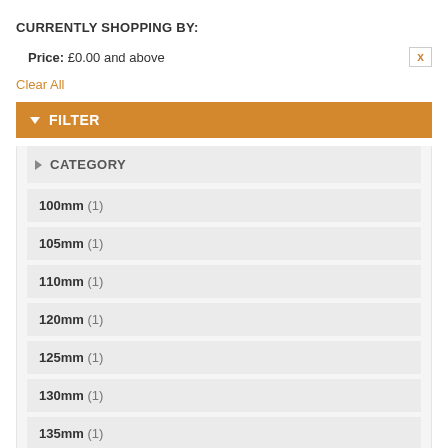CURRENTLY SHOPPING BY:
Price: £0.00 and above
Clear All
FILTER
CATEGORY
100mm (1)
105mm (1)
110mm (1)
120mm (1)
125mm (1)
130mm (1)
135mm (1)